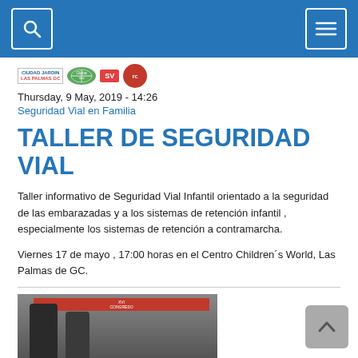[Search icon] [Menu icon] — Navigation bar
[Figure (logo): Logos row: Ciudad Jardín Las Palmas GC, Globe/Vial logo, SV red badge, red circle logo]
Thursday, 9 May, 2019 - 14:26
Seguridad Vial en Familia
TALLER DE SEGURIDAD VIAL
Taller informativo de Seguridad Vial Infantil orientado a la seguridad de las embarazadas y a los sistemas de retención infantil , especialmente los sistemas de retención a contramarcha.
Viernes 17 de mayo , 17:00 horas en el Centro Children´s World, Las Palmas de GC.
Read more
[Figure (photo): Photo of a conference event with people and a red banner/sign. Partially visible at bottom of page.]